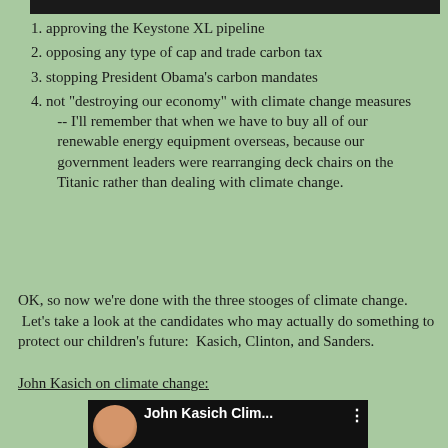1. approving the Keystone XL pipeline
2. opposing any type of cap and trade carbon tax
3. stopping President Obama's carbon mandates
4. not "destroying our economy" with climate change measures -- I'll remember that when we have to buy all of our renewable energy equipment overseas, because our government leaders were rearranging deck chairs on the Titanic rather than dealing with climate change.
OK, so now we're done with the three stooges of climate change. Let's take a look at the candidates who may actually do something to protect our children's future: Kasich, Clinton, and Sanders.
John Kasich on climate change:
[Figure (screenshot): YouTube video thumbnail showing John Kasich with title 'John Kasich Clim...' and subtitle text about climate change: 'there is a problem with climates, climate change in the atmosphere. I believe it. I don't know how much there is, but I also know the good Lord wants us to be good stewards of hi']